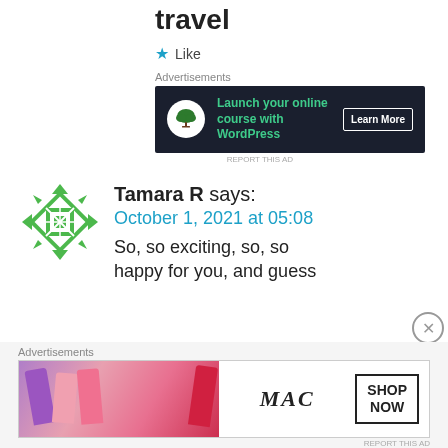travel
★ Like
Advertisements
[Figure (illustration): Dark banner ad: bonsai tree icon circle, green text 'Launch your online course with WordPress', white 'Learn More' button]
REPORT THIS AD
Tamara R says:
October 1, 2021 at 05:08
So, so exciting, so, so happy for you, and guess
Advertisements
[Figure (illustration): MAC cosmetics ad with colorful lipsticks, MAC logo, and SHOP NOW button]